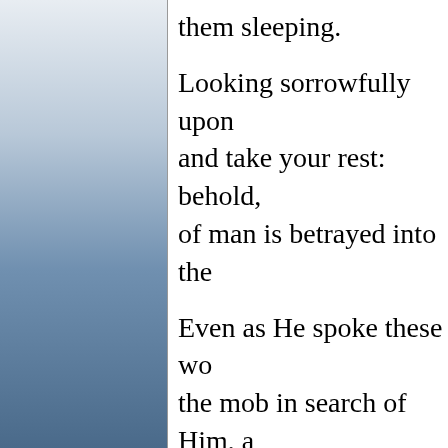them sleeping.
Looking sorrowfully upon and take your rest: behold, of man is betrayed into the
Even as He spoke these wo the mob in search of Him, a behold, he is at hand that d
No traces of His recent ago forth to meet His betrayer. disciples He said, "Whom s of Nazareth." Jesus replied spoken, the angel who had between Him and the mob. Saviour's face, and a dovel the presence of this divine